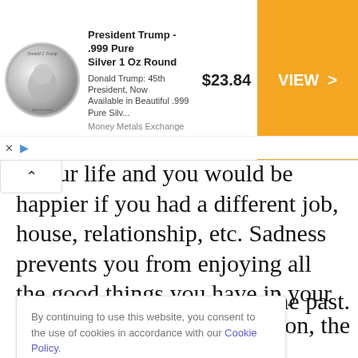[Figure (screenshot): Advertisement banner for President Trump .999 Pure Silver 1 Oz Round coin from Money Metals Exchange, priced at $23.84 with an orange VIEW button]
n your life and you would be happier if you had a different job, house, relationship, etc. Sadness prevents you from enjoying all the good things you have in your life.
Feeling nostalgic is another form of sadness
he past. tion, the icked by ack ou are
By continuing to use this website, you consent to the use of cookies in accordance with our Cookie Policy.
ACCEPT